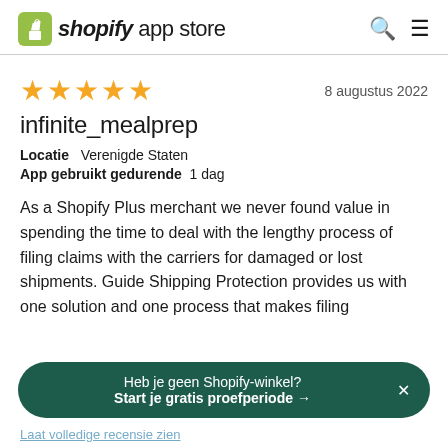shopify app store
8 augustus 2022
infinite_mealprep
Locatie   Verenigde Staten
App gebruikt gedurende   1 dag
As a Shopify Plus merchant we never found value in spending the time to deal with the lengthy process of filing claims with the carriers for damaged or lost shipments. Guide Shipping Protection provides us with one solution and one process that makes filing
Heb je geen Shopify-winkel?
Start je gratis proefperiode →
Laat volledige recensie zien